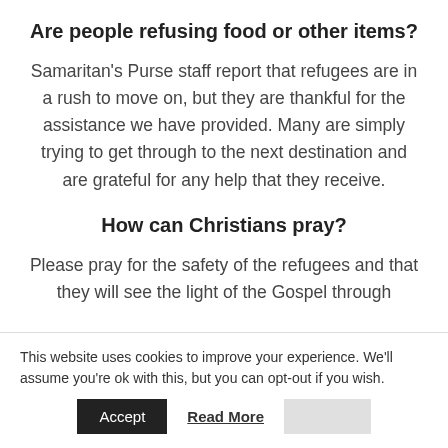Are people refusing food or other items?
Samaritan's Purse staff report that refugees are in a rush to move on, but they are thankful for the assistance we have provided. Many are simply trying to get through to the next destination and are grateful for any help that they receive.
How can Christians pray?
Please pray for the safety of the refugees and that they will see the light of the Gospel through
This website uses cookies to improve your experience. We'll assume you're ok with this, but you can opt-out if you wish.